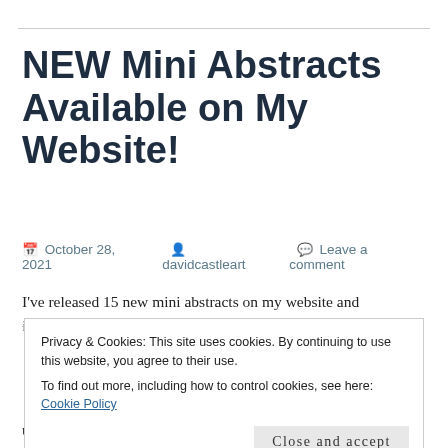NEW Mini Abstracts Available on My Website!
October 28, 2021   davidcastleart   Leave a comment
I've released 15 new mini abstracts on my website and invite you to jump over to www.davidcastleart.com to
Privacy & Cookies: This site uses cookies. By continuing to use this website, you agree to their use.
To find out more, including how to control cookies, see here: Cookie Policy
Close and accept
up at my Denver studio.